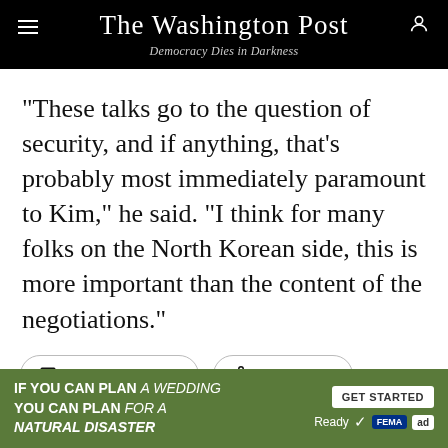The Washington Post — Democracy Dies in Darkness
“These talks go to the question of security, and if anything, that’s probably most immediately paramount to Kim,” he said. “I think for many folks on the North Korean side, this is more important than the content of the negotiations.”
4480 Comments   Gift Article
By John Hudson
John Hudson is a national security reporter at The Washington Post covering the State Department and...
IF YOU CAN PLAN A WEDDING YOU CAN PLAN FOR A NATURAL DISASTER — GET STARTED